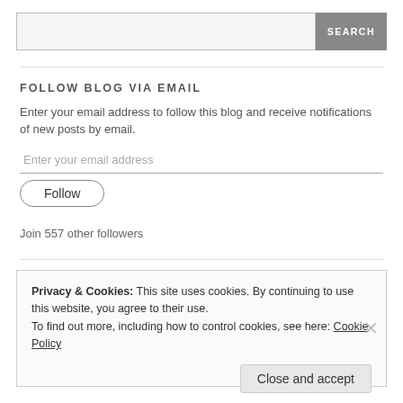[Figure (screenshot): Search bar with text input field and grey SEARCH button]
FOLLOW BLOG VIA EMAIL
Enter your email address to follow this blog and receive notifications of new posts by email.
Enter your email address
Follow
Join 557 other followers
Privacy & Cookies: This site uses cookies. By continuing to use this website, you agree to their use.
To find out more, including how to control cookies, see here: Cookie Policy
Close and accept